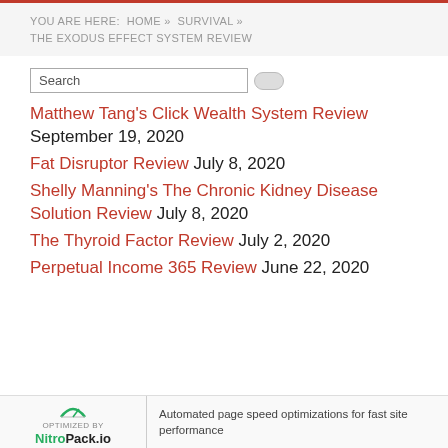YOU ARE HERE: HOME » SURVIVAL » THE EXODUS EFFECT SYSTEM REVIEW
Matthew Tang's Click Wealth System Review September 19, 2020
Fat Disruptor Review July 8, 2020
Shelly Manning's The Chronic Kidney Disease Solution Review July 8, 2020
The Thyroid Factor Review July 2, 2020
Perpetual Income 365 Review June 22, 2020
OPTIMIZED BY NitroPack.io | Automated page speed optimizations for fast site performance